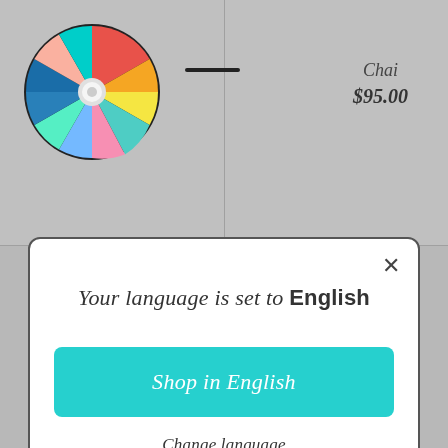[Figure (illustration): Colorful spinning wheel/prize wheel with multiple colored segments (red, blue, yellow, cyan, green, pink, orange) and a white center hub. Located in the top-left area of the page background.]
Chai
$95.00
Your language is set to English
Shop in English
Change language